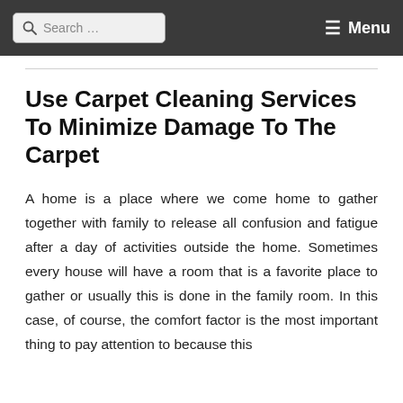Search ... Menu
Use Carpet Cleaning Services To Minimize Damage To The Carpet
A home is a place where we come home to gather together with family to release all confusion and fatigue after a day of activities outside the home. Sometimes every house will have a room that is a favorite place to gather or usually this is done in the family room. In this case, of course, the comfort factor is the most important thing to pay attention to because this